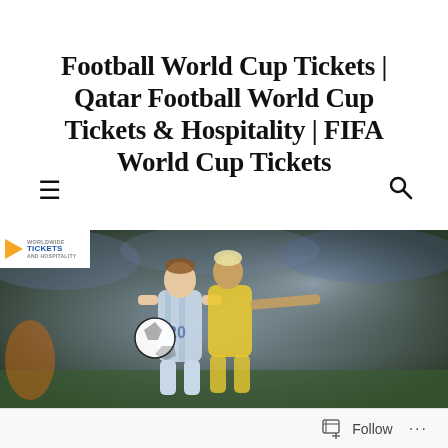Football World Cup Tickets | Qatar Football World Cup Tickets & Hospitality | FIFA World Cup Tickets
[Figure (photo): Two soccer players competing for the ball during a World Cup qualifying match. Player in white Argentina jersey number 20 controls the ball while a player in yellow Colombia jersey challenges from behind. A Worldwide Tickets and Hospitality logo badge appears in the top-left corner of the image.]
Follow ···